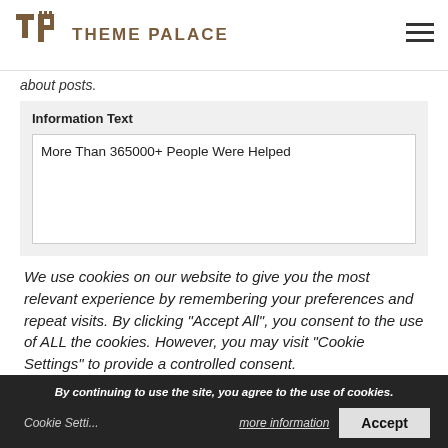THEME PALACE
about posts.
Information Text
More Than 365000+ People Were Helped
We use cookies on our website to give you the most relevant experience by remembering your preferences and repeat visits. By clicking “Accept All”, you consent to the use of ALL the cookies. However, you may visit “Cookie Settings” to provide a controlled consent.
By continuing to use the site, you agree to the use of cookies.
more information
Accept